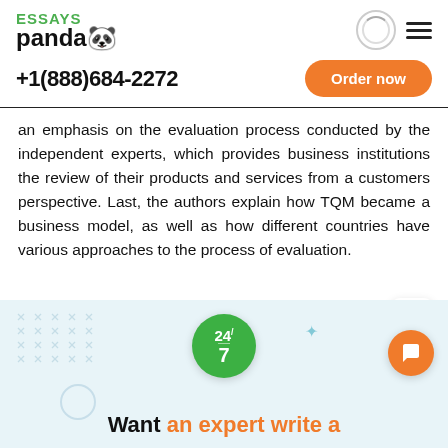ESSAYS panda
+1(888)684-2272
an emphasis on the evaluation process conducted by the independent experts, which provides business institutions the review of their products and services from a customers perspective. Last, the authors explain how TQM became a business model, as well as how different countries have various approaches to the process of evaluation.
[Figure (illustration): Light blue banner section with 24/7 green circle badge, decorative dots pattern on left, star icon, circle outline, orange chat button on right, and text 'Want an expert write a' at the bottom]
Want an expert write a